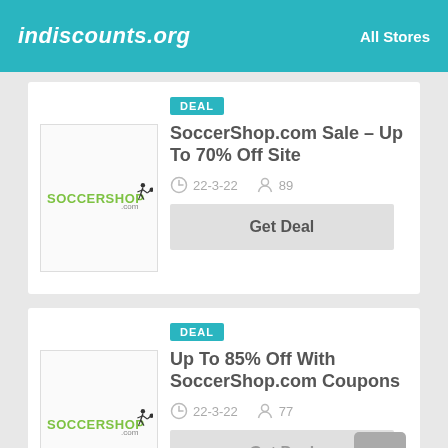indiscounts.org | All Stores
[Figure (logo): SoccerShop.com logo - green text with soccer player silhouette]
DEAL
SoccerShop.com Sale – Up To 70% Off Site
22-3-22   89
Get Deal
[Figure (logo): SoccerShop.com logo - green text with soccer player silhouette]
DEAL
Up To 85% Off With SoccerShop.com Coupons
22-3-22   77
Get Deal